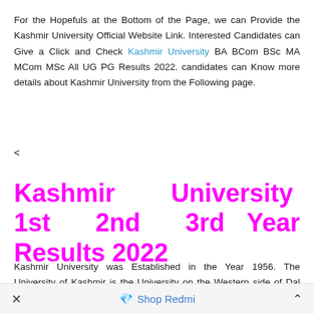For the Hopefuls at the Bottom of the Page, we can Provide the Kashmir University Official Website Link. Interested Candidates can Give a Click and Check Kashmir University BA BCom BSc MA MCom MSc All UG PG Results 2022. candidates can Know more details about Kashmir University from the Following page.
<
Kashmir University 1st 2nd 3rd Year Results 2022
Kashmir University was Established in the Year 1956. The University of Kashmir is the University on the Western side of Dal Lake in the City of Srinagar. Narinder Nath Vohra and Khurshid
× Shop Redmi ^